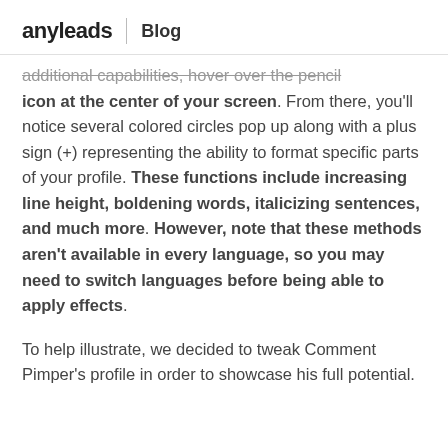anyleads | Blog
additional capabilities, hover over the pencil icon at the center of your screen. From there, you'll notice several colored circles pop up along with a plus sign (+) representing the ability to format specific parts of your profile. These functions include increasing line height, boldening words, italicizing sentences, and much more. However, note that these methods aren't available in every language, so you may need to switch languages before being able to apply effects.
To help illustrate, we decided to tweak Comment Pimper's profile in order to showcase his full potential.